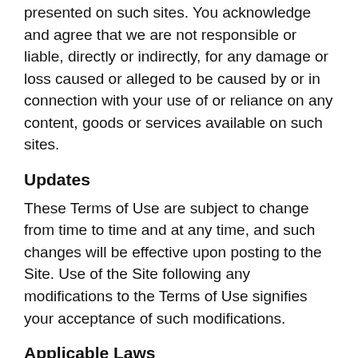presented on such sites. You acknowledge and agree that we are not responsible or liable, directly or indirectly, for any damage or loss caused or alleged to be caused by or in connection with your use of or reliance on any content, goods or services available on such sites.
Updates
These Terms of Use are subject to change from time to time and at any time, and such changes will be effective upon posting to the Site. Use of the Site following any modifications to the Terms of Use signifies your acceptance of such modifications.
Applicable Laws
The Site and these Terms of Use are governed by the laws of the United States without giving effect to any principles of conflict of laws. If any provision of these Terms of Use shall be held to be invalid, illegal, or unenforceable, the